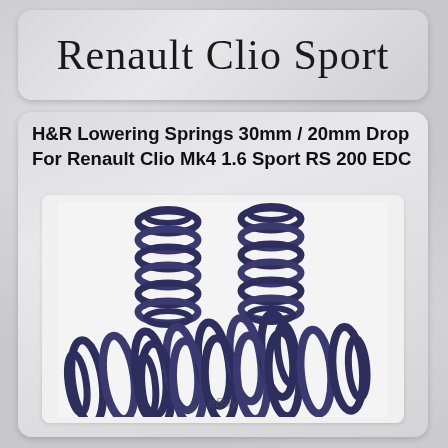Renault Clio Sport
H&R Lowering Springs 30mm / 20mm Drop For Renault Clio Mk4 1.6 Sport RS 200 EDC
[Figure (photo): Four dark navy blue H&R lowering springs arranged in a group — two upright coil springs in the back and two larger horizontal springs in the front, on a white background with eBay watermark]
eBay